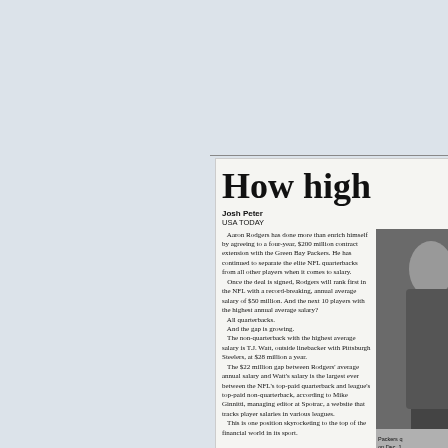[Figure (photo): Newspaper article clipping showing headline 'How high' with byline Josh Peter, USA TODAY, body text about Aaron Rodgers NFL contract, and a partial photo of a player]